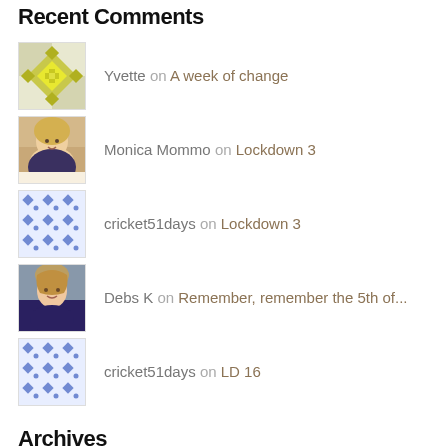Recent Comments
Yvette on A week of change
Monica Mommo on Lockdown 3
cricket51days on Lockdown 3
Debs K on Remember, remember the 5th of...
cricket51days on LD 16
Archives
September 2022
August 2022
July 2022
June 2022